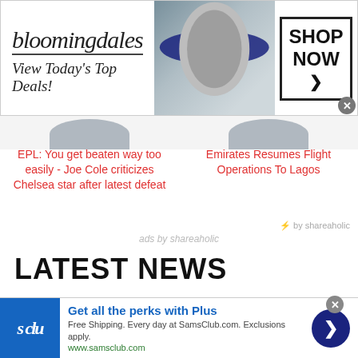[Figure (screenshot): Bloomingdale's advertisement banner: 'bloomingdales View Today's Top Deals!' with woman wearing hat and 'SHOP NOW >' button]
EPL: You get beaten way too easily - Joe Cole criticizes Chelsea star after latest defeat
Emirates Resumes Flight Operations To Lagos
by shareaholic
ads by shareaholic
LATEST NEWS
[Figure (screenshot): Sam's Club advertisement: 'Get all the perks with Plus - Free Shipping. Every day at SamsClub.com. Exclusions apply. www.samsclub.com']